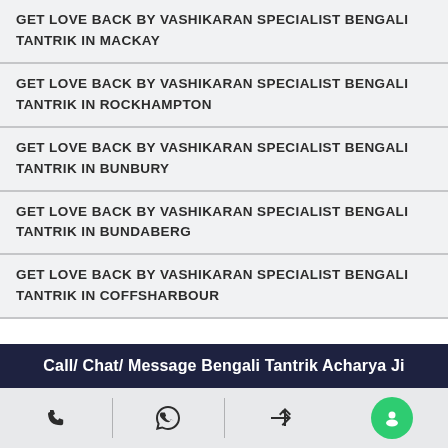GET LOVE BACK BY VASHIKARAN SPECIALIST BENGALI TANTRIK IN MACKAY
GET LOVE BACK BY VASHIKARAN SPECIALIST BENGALI TANTRIK IN ROCKHAMPTON
GET LOVE BACK BY VASHIKARAN SPECIALIST BENGALI TANTRIK IN BUNBURY
GET LOVE BACK BY VASHIKARAN SPECIALIST BENGALI TANTRIK IN BUNDABERG
GET LOVE BACK BY VASHIKARAN SPECIALIST BENGALI TANTRIK IN COFFSHARBOUR
Call/ Chat/ Message Bengali Tantrik Acharya Ji